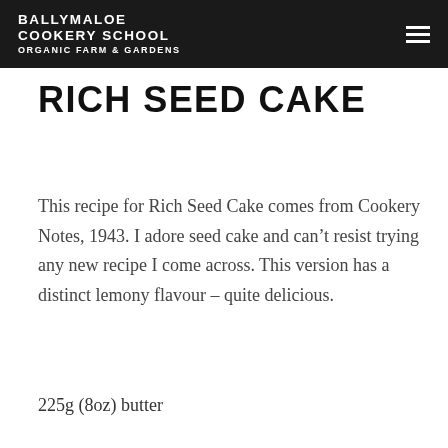BALLYMALOE COOKERY SCHOOL ORGANIC FARM & GARDENS
RICH SEED CAKE
This recipe for Rich Seed Cake comes from Cookery Notes, 1943. I adore seed cake and can't resist trying any new recipe I come across. This version has a distinct lemony flavour – quite delicious.
225g (8oz) butter